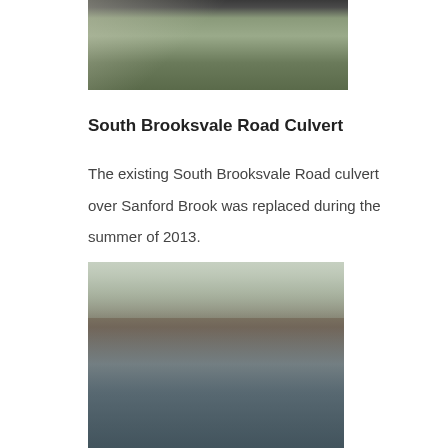[Figure (photo): Top portion of a photo showing a culvert or drainage structure with grass and gravel surroundings, partially cropped at top of page.]
South Brooksvale Road Culvert
The existing South Brooksvale Road culvert over Sanford Brook was replaced during the summer of 2013.
[Figure (photo): Photo of a stream (Sanford Brook) with rocky banks and a culvert/bridge structure visible in the background, taken after replacement in 2013. Trees and a white house visible in the background.]